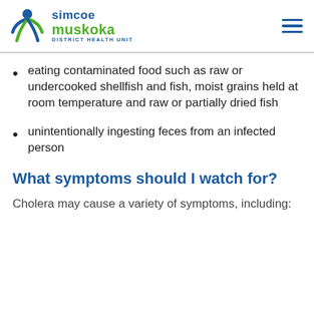Simcoe Muskoka District Health Unit
eating contaminated food such as raw or undercooked shellfish and fish, moist grains held at room temperature and raw or partially dried fish
unintentionally ingesting feces from an infected person
What symptoms should I watch for?
Cholera may cause a variety of symptoms, including: